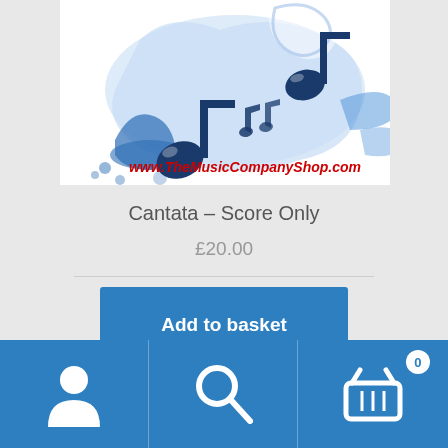[Figure (illustration): Product image for TheMusicCompanyShop.com showing blue paint splash with musical notes and two dark blue musical note icons on a white background, with the website URL www.TheMusicCompanyShop.com in red italic text.]
Cantata – Score Only
£20.00
Add to basket